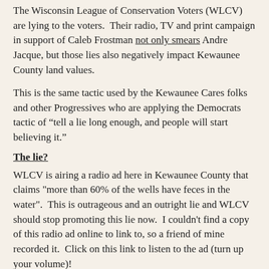The Wisconsin League of Conservation Voters (WLCV) are lying to the voters. Their radio, TV and print campaign in support of Caleb Frostman not only smears Andre Jacque, but those lies also negatively impact Kewaunee County land values.
This is the same tactic used by the Kewaunee Cares folks and other Progressives who are applying the Democrats tactic of “tell a lie long enough, and people will start believing it.”
The lie?
WLCV is airing a radio ad here in Kewaunee County that claims "more than 60% of the wells have feces in the water". This is outrageous and an outright lie and WLCV should stop promoting this lie now. I couldn't find a copy of this radio ad online to link to, so a friend of mine recorded it. Click on this link to listen to the ad (turn up your volume)!